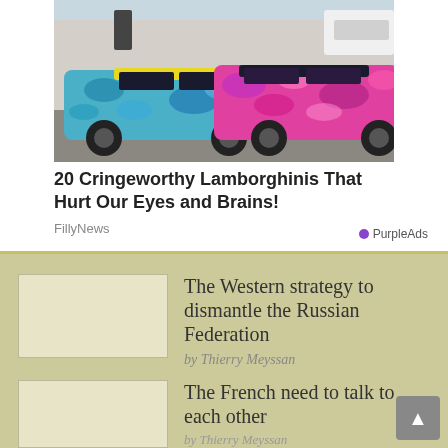[Figure (photo): Photo of two colorful camouflage-painted Lamborghinis parked outdoors — one in blue/teal pattern, one in pink/magenta pattern]
20 Cringeworthy Lamborghinis That Hurt Our Eyes and Brains!
FillyNews
PurpleAds
The Western strategy to dismantle the Russian Federation
by Thierry Meyssan
The French need to talk to each other
by Thierry Meyssan